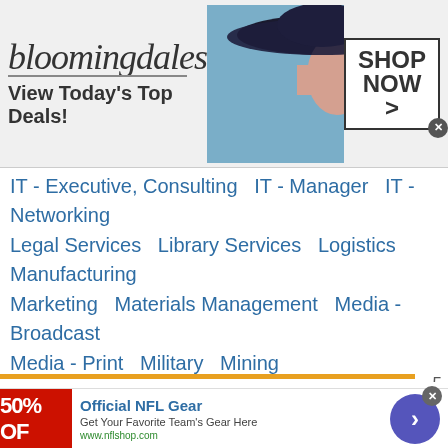[Figure (screenshot): Bloomingdale's advertisement banner: logo text 'bloomingdales', tagline 'View Today's Top Deals!', model photo with blue hat, and 'SHOP NOW >' button]
IT - Executive, Consulting   IT - Manager   IT - Networking
Legal Services   Library Services   Logistics   Manufacturing
Marketing   Materials Management   Media - Broadcast
Media - Print   Military   Mining
Non-Profit and Social Services   Personal Care and Service
Pharmaceuticals   Planning   Printing and Publishing
Public Relations   Purchasing   Real Estate
This site uses cookies and other similar technologies to provide site functionality, analyze traffic and usage, and
[Figure (screenshot): Official NFL Gear advertisement: '50% OFF' red banner, title 'Official NFL Gear', subtitle 'Get Your Favorite Team's Gear Here', url 'www.nflshop.com', and a purple circular arrow button]